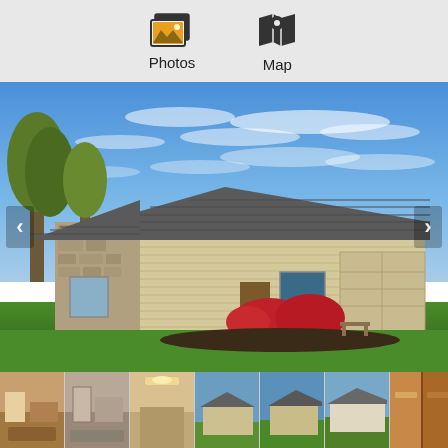[Figure (screenshot): Real estate listing page toolbar with Photos icon (stack of images icon) and Map icon (pin/map icon), on a light grey background]
[Figure (photo): Exterior photo of a single-story ranch-style home with cream/tan vinyl siding, dark grey asphalt shingle roof, red flowering bushes in front, green lawn, blue sky with wispy clouds, and trees on the left side. The home has a garage on the right side.]
[Figure (photo): Row of thumbnail images of the property interior and exterior: living room, bedroom, hallway/bathroom, exterior front, exterior side, exterior front different angle, and cabinet/wood interior detail. The last thumbnail has an orange scroll-up button.]